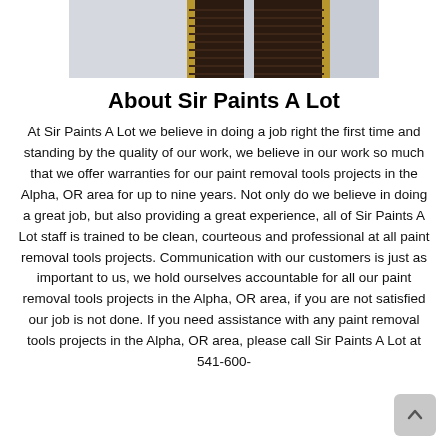[Figure (photo): Photo of escalator steps with dark brown/black steps and gold/yellow side rails against a light blue-grey sky background]
About Sir Paints A Lot
At Sir Paints A Lot we believe in doing a job right the first time and standing by the quality of our work, we believe in our work so much that we offer warranties for our paint removal tools projects in the Alpha, OR area for up to nine years. Not only do we believe in doing a great job, but also providing a great experience, all of Sir Paints A Lot staff is trained to be clean, courteous and professional at all paint removal tools projects. Communication with our customers is just as important to us, we hold ourselves accountable for all our paint removal tools projects in the Alpha, OR area, if you are not satisfied our job is not done. If you need assistance with any paint removal tools projects in the Alpha, OR area, please call Sir Paints A Lot at 541-600-